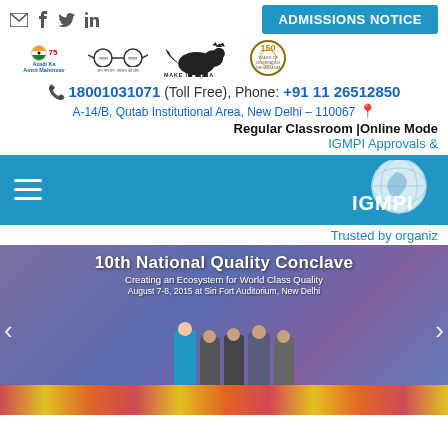ADMISSIONS NOTICE
[Figure (logo): Row of logos: Azadi Ka Amrit Mahotsav, Gandhi glasses logo, Make in India lion, 150 years celebrating the Mahatma]
📞 18001031071 (Toll Free), Phone: +91 11 26512850
A-14/B, Qutab Institutional Area, New Delhi – 110067 📍
Regular Classroom |Online Mode
IGMPI Approvals &
[Figure (logo): IGMPI navigation bar with hamburger menu and IGMPI globe logo on blue background]
Trusted by organiz
[Figure (photo): 10th National Quality Conclave - Creating an Ecosystem for World Class Quality, August 7-8, 2015 at Siri Fort Auditorium, New Delhi. People on stage receiving award, colorful floral decoration.]